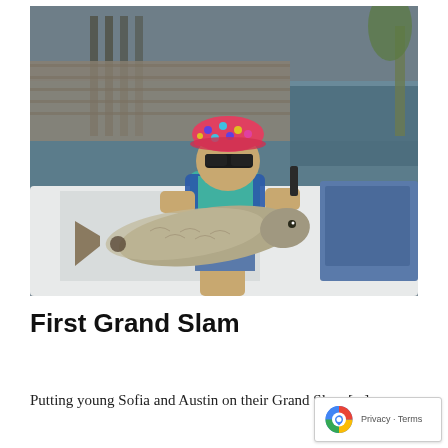[Figure (photo): A young child wearing a colorful polka-dot hat, sunglasses, and a blue/teal life vest, sitting on a white boat and holding a large redfish (red drum). Background shows a marina or dock area with water visible.]
First Grand Slam
Putting young Sofia and Austin on their Grand Slam [ . ]